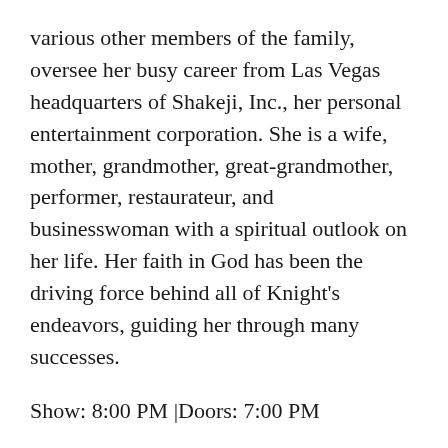various other members of the family, oversee her busy career from Las Vegas headquarters of Shakeji, Inc., her personal entertainment corporation. She is a wife, mother, grandmother, great-grandmother, performer, restaurateur, and businesswoman with a spiritual outlook on her life. Her faith in God has been the driving force behind all of Knight's endeavors, guiding her through many successes.
Show: 8:00 PM |Doors: 7:00 PM
Venue: Hard Rock Live
Tickets: $89.50/$74.50/$53.50